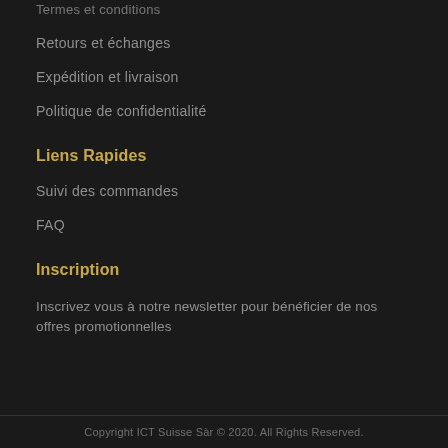Termes et conditions
Retours et échanges
Expédition et livraison
Politique de confidentialité
Liens Rapides
Suivi des commandes
FAQ
Inscription
Inscrivez vous à notre newsletter pour bénéficier de nos offres promotionnelles
Copyright ICT Suisse Sàr © 2020. All Rights Reserved.